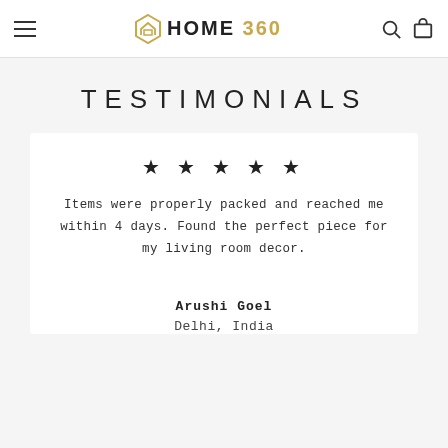HOME 360 navigation header with hamburger menu, logo, search and cart icons
TESTIMONIALS
★ ★ ★ ★ ★
Items were properly packed and reached me within 4 days. Found the perfect piece for my living room decor.
Arushi Goel
Delhi, India